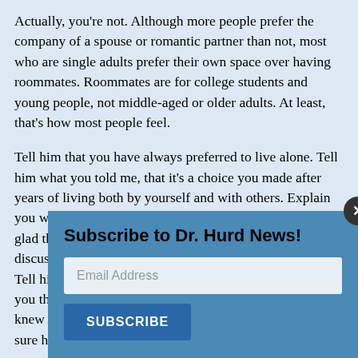Actually, you're not. Although more people prefer the company of a spouse or romantic partner than not, most who are single adults prefer their own space over having roommates. Roommates are for college students and young people, not middle-aged or older adults. At least, that's how most people feel.
Tell him that you have always preferred to live alone. Tell him what you told me, that it's a choice you made after years of living both by yourself and with others. Explain you were happy to help him out in a crisis, and you're so glad the crisis is over. Ask him if he remembers your discussion that once he had a job again, he'd move out. Tell him the reason you brought that up wasn't because you thought he'd take advantage of you, but because you knew he'd get back on his feet and you wanted to make sure he knew this was only tem... wi... yo... tru...
Th... de...
[Figure (other): Subscribe to Dr. Hurd News! popup overlay with email address input field and SUBSCRIBE button, with close (X) button in top right corner]